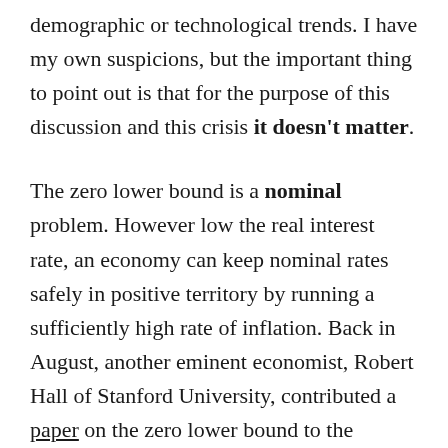demographic or technological trends. I have my own suspicions, but the important thing to point out is that for the purpose of this discussion and this crisis it doesn't matter.
The zero lower bound is a nominal problem. However low the real interest rate, an economy can keep nominal rates safely in positive territory by running a sufficiently high rate of inflation. Back in August, another eminent economist, Robert Hall of Stanford University, contributed a paper on the zero lower bound to the